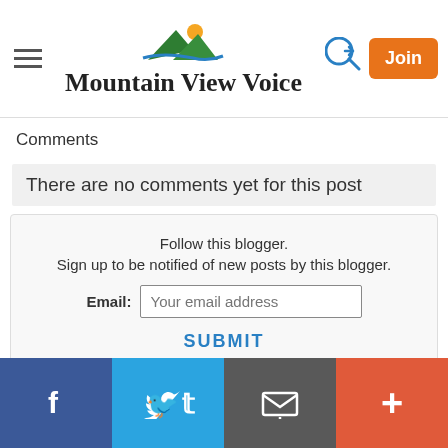Mountain View Voice
Comments
There are no comments yet for this post
Follow this blogger.
Sign up to be notified of new posts by this blogger.
Email: [Your email address]
SUBMIT
Post a comment
Sorry, but further commenting on this topic has been closed.
Facebook | Twitter | Email | +